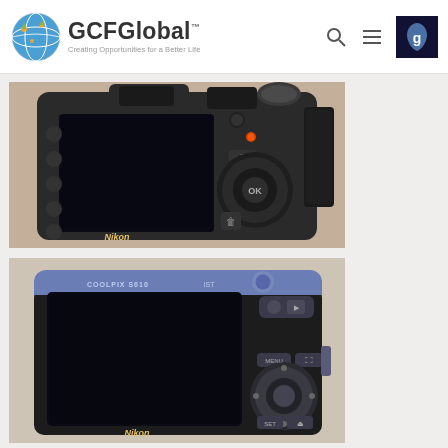GCFGlobal - Creating Opportunities for a Better Life
[Figure (photo): Back view of a Nikon DSLR camera showing LCD screen, viewfinder, control buttons, and navigation dial]
[Figure (photo): Back view of a Nikon Coolpix compact camera (purple/blue) showing large LCD screen and control buttons]